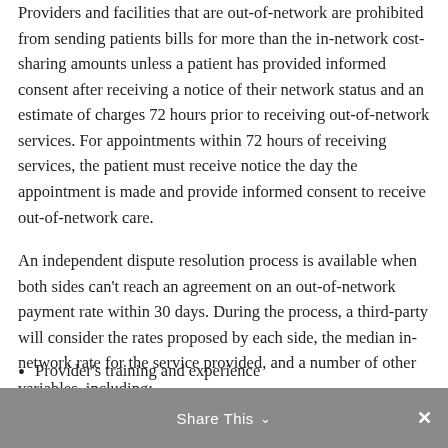Providers and facilities that are out-of-network are prohibited from sending patients bills for more than the in-network cost-sharing amounts unless a patient has provided informed consent after receiving a notice of their network status and an estimate of charges 72 hours prior to receiving out-of-network services. For appointments within 72 hours of receiving services, the patient must receive notice the day the appointment is made and provide informed consent to receive out-of-network care.
An independent dispute resolution process is available when both sides can't reach an agreement on an out-of-network payment rate within 30 days. During the process, a third-party will consider the rates proposed by each side, the median in-network rate for the service provided, and a number of other variables, including:
Provider's training and experience
Share This ∨  ✕